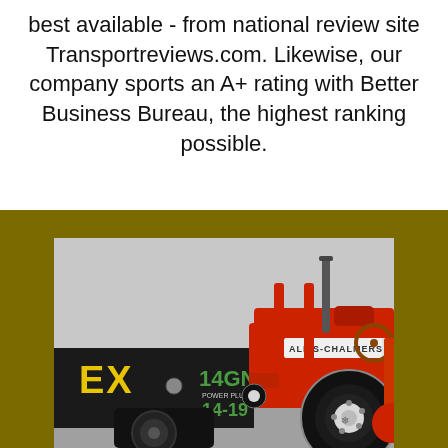best available - from national review site Transportreviews.com. Likewise, our company sports an A+ rating with Better Business Bureau, the highest ranking possible.
[Figure (photo): Outdoor photo showing a red Allis-Chalmers tractor being transported on a trailer. The trailer has 'EX' and '14GN' and '14-19' markings visible. Background shows an overcast sky. The scene is surrounded by an olive/gold colored border.]